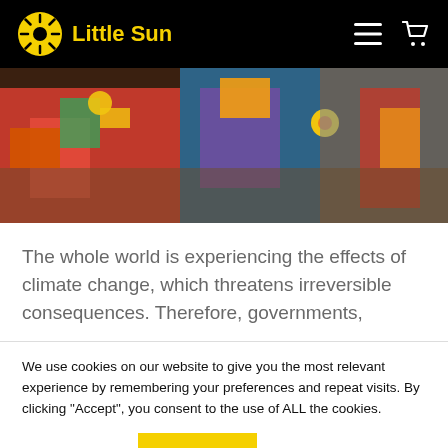Little Sun
[Figure (photo): Colorful photo of people wearing bright traditional clothing with accessories, viewed from above/side angle]
The whole world is experiencing the effects of climate change, which threatens irreversible consequences. Therefore, governments,
We use cookies on our website to give you the most relevant experience by remembering your preferences and repeat visits. By clicking "Accept", you consent to the use of ALL the cookies.
Cookie settings | ACCEPT